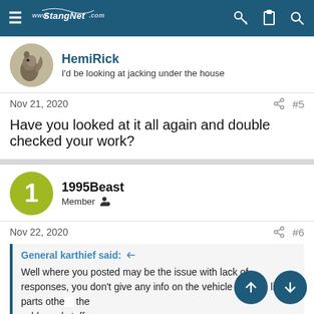StangNet.com navigation bar
HemiRick
I'd be looking at jacking under the house
Nov 21, 2020  #5
Have you looked at it all again and double checked your work?
1995Beast
Member
Nov 22, 2020  #6
General karthief said:  Well where you posted may be the issue with lack of responses, you don't give any info on the vehicle or drive line parts other than the cable and stuff.
I will say that the issue of 'scratching noise may be the cable